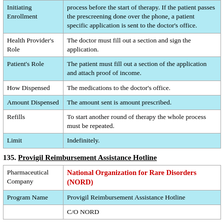|  |  |
| --- | --- |
| Initiating Enrollment | process before the start of therapy. If the patient passes the prescreening done over the phone, a patient specific application is sent to the doctor's office. |
| Health Provider's Role | The doctor must fill out a section and sign the application. |
| Patient's Role | The patient must fill out a section of the application and attach proof of income. |
| How Dispensed | The medications to the doctor's office. |
| Amount Dispensed | The amount sent is amount prescribed. |
| Refills | To start another round of therapy the whole process must be repeated. |
| Limit | Indefinitely. |
135. Provigil Reimbursement Assistance Hotline
|  |  |
| --- | --- |
| Pharmaceutical Company | National Organization for Rare Disorders (NORD) |
| Program Name | Provigil Reimbursement Assistance Hotline |
|  | C/O NORD |